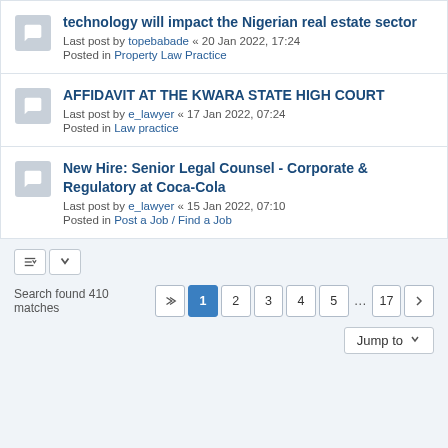technology will impact the Nigerian real estate sector
Last post by topebabade « 20 Jan 2022, 17:24
Posted in Property Law Practice
AFFIDAVIT AT THE KWARA STATE HIGH COURT
Last post by e_lawyer « 17 Jan 2022, 07:24
Posted in Law practice
New Hire: Senior Legal Counsel - Corporate & Regulatory at Coca-Cola
Last post by e_lawyer « 15 Jan 2022, 07:10
Posted in Post a Job / Find a Job
Search found 410 matches